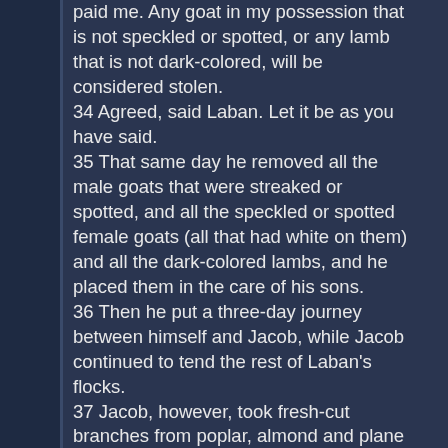paid me. Any goat in my possession that is not speckled or spotted, or any lamb that is not dark-colored, will be considered stolen. 34 Agreed, said Laban. Let it be as you have said. 35 That same day he removed all the male goats that were streaked or spotted, and all the speckled or spotted female goats (all that had white on them) and all the dark-colored lambs, and he placed them in the care of his sons. 36 Then he put a three-day journey between himself and Jacob, while Jacob continued to tend the rest of Laban's flocks. 37 Jacob, however, took fresh-cut branches from poplar, almond and plane trees and made white stripes on them by peeling the bark and exposing the white inner wood of the branches.